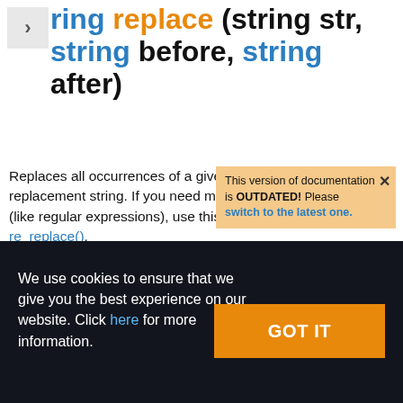ring replace (string str, string before, string after)
Replaces all occurrences of a given string by another replacement string. If you need more complex replacing rules (like regular expressions), use this function instead of re_replace().
This version of documentation is OUTDATED! Please switch to the latest one.
We use cookies to ensure that we give you the best experience on our website. Click here for more information.
GOT IT